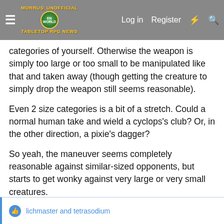Morrus' Unofficial Tabletop RPG News — Log in  Register
categories of yourself. Otherwise the weapon is simply too large or too small to be manipulated like that and taken away (though getting the creature to simply drop the weapon still seems reasonable).
Even 2 size categories is a bit of a stretch. Could a normal human take and wield a cyclops's club? Or, in the other direction, a pixie's dagger?
So yeah, the maneuver seems completely reasonable against similar-sized opponents, but starts to get wonky against very large or very small creatures.
↩ Reply
👍 lichmaster and tetrasodium